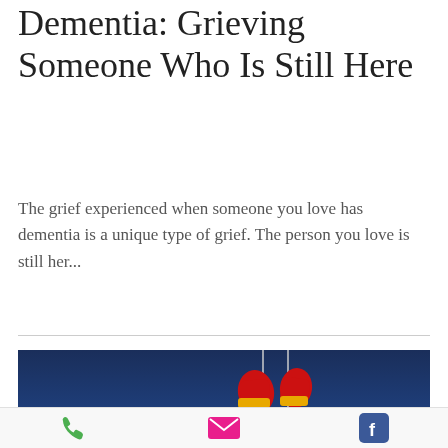Dementia: Grieving Someone Who Is Still Here
The grief experienced when someone you love has dementia is a unique type of grief. The person you love is still her...
[Figure (photo): Photo of hanging red and yellow boxing gloves against a dark blue background]
Phone | Email | Facebook toolbar icons